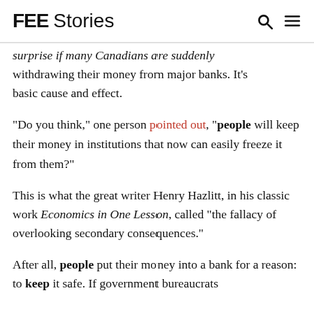FEE Stories
surprise if many Canadians are suddenly withdrawing their money from major banks. It's basic cause and effect.
“Do you think,” one person pointed out, “people will keep their money in institutions that now can easily freeze it from them?”
This is what the great writer Henry Hazlitt, in his classic work Economics in One Lesson, called “the fallacy of overlooking secondary consequences.”
After all, people put their money into a bank for a reason: to keep it safe. If government bureaucrats